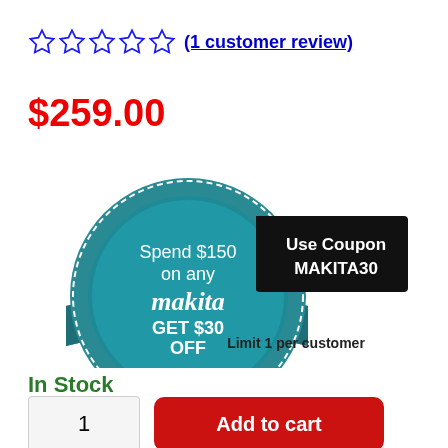(1 customer review)
$259.00
[Figure (infographic): Makita coupon badge: teal medallion seal reading 'Spend $150 on any Makita GET $30 OFF' with black banner 'Use Coupon MAKITA30' and text 'Limit 1 per customer']
In Stock
1   Add to cart